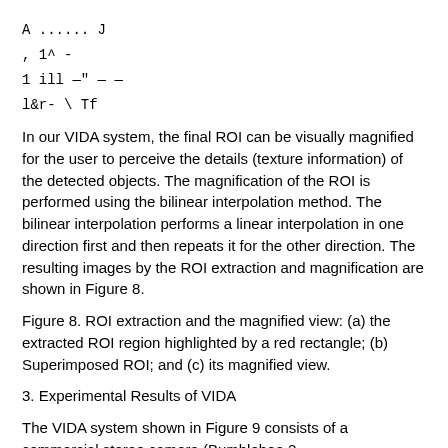In our VIDA system, the final ROI can be visually magnified for the user to perceive the details (texture information) of the detected objects. The magnification of the ROI is performed using the bilinear interpolation method. The bilinear interpolation performs a linear interpolation in one direction first and then repeats it for the other direction. The resulting images by the ROI extraction and magnification are shown in Figure 8.
Figure 8. ROI extraction and the magnified view: (a) the extracted ROI region highlighted by a red rectangle; (b) Superimposed ROI; and (c) its magnified view.
3. Experimental Results of VIDA
The VIDA system shown in Figure 9 consists of a commercial stereo camera (Bumblebee 2